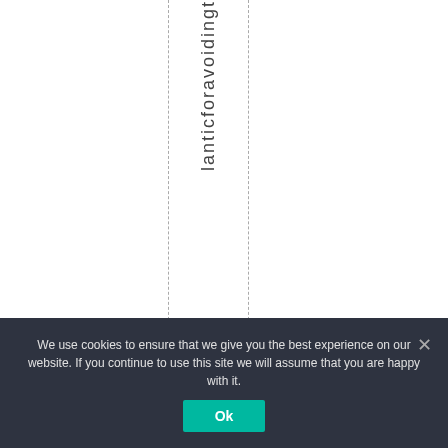lanticforavoidingt
We use cookies to ensure that we give you the best experience on our website. If you continue to use this site we will assume that you are happy with it. Ok